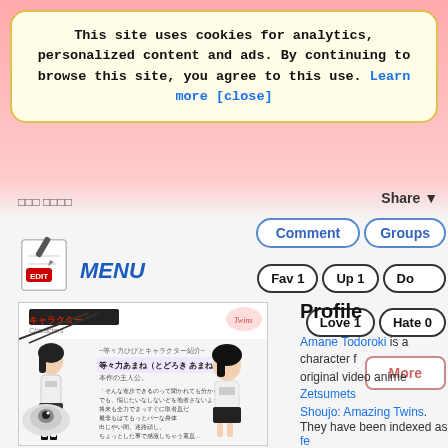This site uses cookies for analytics, personalized content and ads. By continuing to browse this site, you agree to this use. Learn more [close]
□□□ □□□□
Share ▼
[Figure (illustration): Edit icon with pencil on notepad graphic with red EDIT label]
MENU
[Figure (illustration): Anime character page showing Amane Todoroki character art with Japanese text from Zetsumets Shoujo: Amazing Twins]
Profile
Amane Todoroki is a character from the original video anime Zetsumets Shoujo: Amazing Twins.
They have been indexed as fe